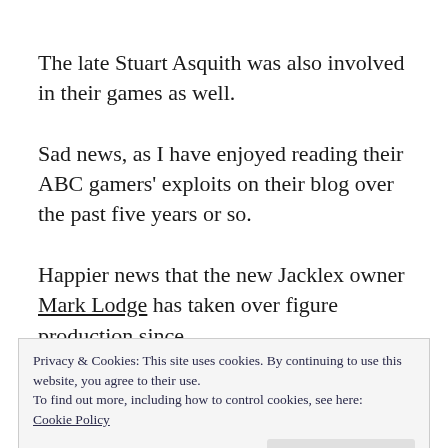The late Stuart Asquith was also involved in their games as well.
Sad news, as I have enjoyed reading their ABC gamers' exploits on their blog over the past five years or so.
Happier news that the new Jacklex owner Mark Lodge has taken over figure production since
Privacy & Cookies: This site uses cookies. By continuing to use this website, you agree to their use.
To find out more, including how to control cookies, see here:
Cookie Policy
Close and accept